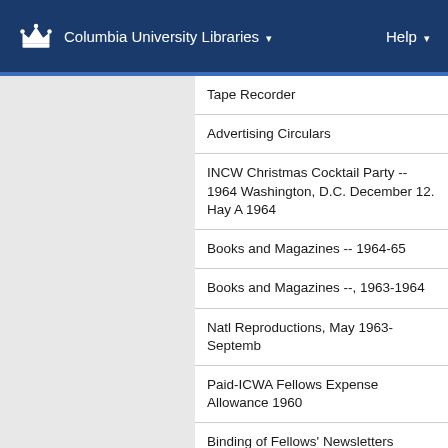Columbia University Libraries  Help
Tape Recorder
Advertising Circulars
INCW Christmas Cocktail Party -- 1964 Washington, D.C. December 12. Hay A 1964
Books and Magazines -- 1964-65
Books and Magazines --, 1963-1964
Natl Reproductions, May 1963-Septemb
Paid-ICWA Fellows Expense Allowance 1960
Binding of Fellows' Newsletters Corresp Tables of Contents
Bound Newsletters -- Tables of Content